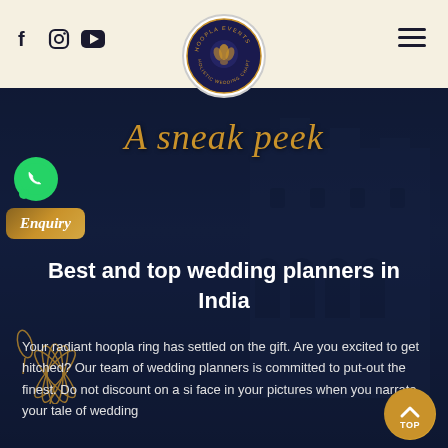[Figure (logo): Hoopla Events logo circle with hands and lotus flower, text reading HOOPLA EVENTS and HOLISTIC WEDDING CHAPTER around the circle]
[Figure (illustration): Social media icons: Facebook (f), Instagram, YouTube play button in dark navy color]
[Figure (illustration): Hamburger menu icon (three horizontal lines) in dark navy]
[Figure (photo): Hero background showing a dark blue toned architectural photo of an ornate Indian palace/building with arches and domes, overlaid with dark navy blue semi-transparent overlay]
[Figure (logo): WhatsApp green circular button with phone icon]
A sneak peek
[Figure (illustration): Enquiry button with gold gradient background and italic text]
Best and top wedding planners in India
Your radiant hoopla ring has settled on the gift. Are you excited to get hitched? Our team of wedding planners is committed to put-out the finest. Do not discount on a single face in your pictures when you narrate your tale of wedding
[Figure (illustration): TOP scroll-to-top button, gold circular with upward chevron and TOP text]
[Figure (illustration): Gold lotus flower outline decoration in bottom left corner]